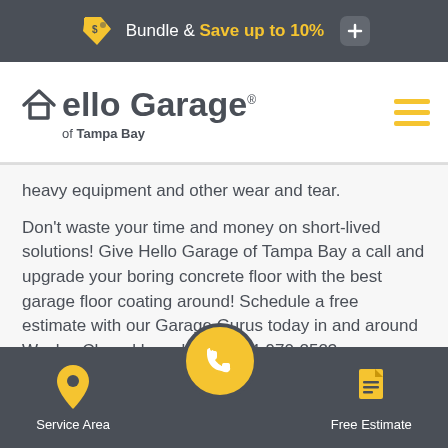Bundle & Save up to 10%
[Figure (logo): Hello Garage of Tampa Bay logo with house icon]
heavy equipment and other wear and tear.
Don't waste your time and money on short-lived solutions! Give Hello Garage of Tampa Bay a call and upgrade your boring concrete floor with the best garage floor coating around! Schedule a free estimate with our Garage Gurus today in and around Wesley Chapel by calling 1-844-970-2523 or
Service Area | (phone) | Free Estimate